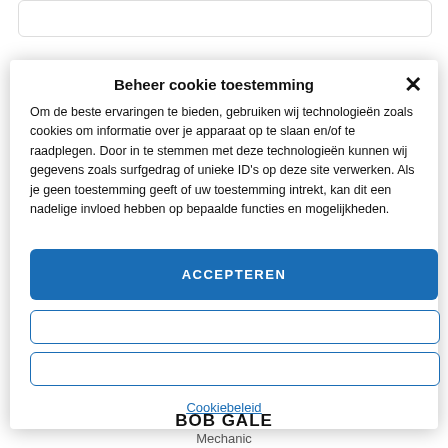Beheer cookie toestemming
Om de beste ervaringen te bieden, gebruiken wij technologieën zoals cookies om informatie over je apparaat op te slaan en/of te raadplegen. Door in te stemmen met deze technologieën kunnen wij gegevens zoals surfgedrag of unieke ID's op deze site verwerken. Als je geen toestemming geeft of uw toestemming intrekt, kan dit een nadelige invloed hebben op bepaalde functies en mogelijkheden.
ACCEPTEREN
Cookiebeleid
BOB GALE
Mechanic